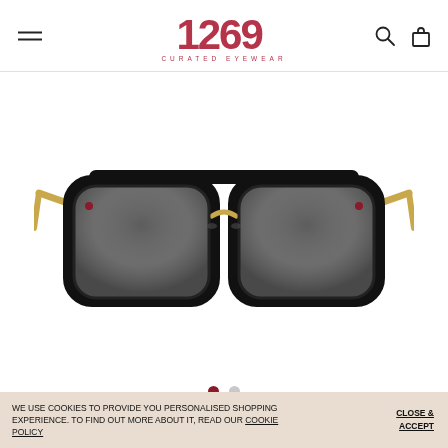1269 CURATED EYEWEAR — navigation header with hamburger menu, logo, search and cart icons
[Figure (photo): Pair of aviator-style sunglasses with thick black frames and gradient grey lenses, gold accent hardware on temples, displayed on white background]
Carousel navigation dots — one active (dark red), one inactive (light grey)
WE USE COOKIES TO PROVIDE YOU PERSONALISED SHOPPING EXPERIENCE. TO FIND OUT MORE ABOUT IT, READ OUR COOKIE POLICY
CLOSE & ACCEPT